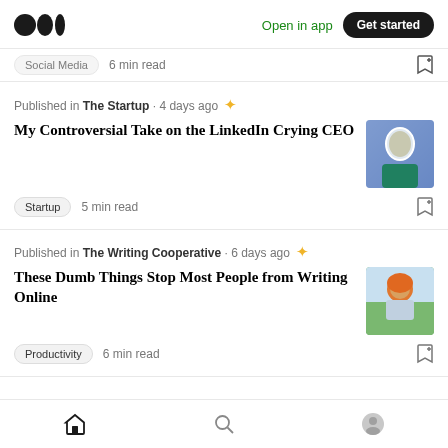[Figure (screenshot): Medium app header with logo, Open in app link, and Get started button]
Social Media · 6 min read
Published in The Startup · 4 days ago ✦
My Controversial Take on the LinkedIn Crying CEO
Startup   5 min read
Published in The Writing Cooperative · 6 days ago ✦
These Dumb Things Stop Most People from Writing Online
Productivity   6 min read
[Figure (other): Bottom navigation bar with home, search, and profile icons]